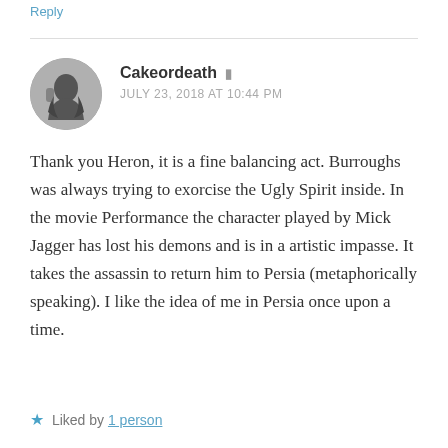Reply
[Figure (photo): Circular avatar photo of a person seen from behind, wearing dark clothing, on a grey background]
Cakeordeath
JULY 23, 2018 AT 10:44 PM
Thank you Heron, it is a fine balancing act. Burroughs was always trying to exorcise the Ugly Spirit inside. In the movie Performance the character played by Mick Jagger has lost his demons and is in a artistic impasse. It takes the assassin to return him to Persia (metaphorically speaking). I like the idea of me in Persia once upon a time.
Liked by 1 person
Reply